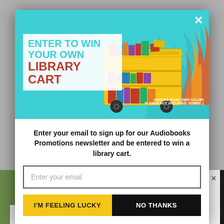[Figure (screenshot): Modal popup advertisement for library cart giveaway. Teal header with yellow library cart illustration and flames. Text 'ENTER TO WIN YOUR OWN LIBRARY CART'. Below: email signup form with 'I'M FEELING LUCKY' yellow button and 'NO THANKS' black button.]
Enter your email to sign up for our Audiobooks Promotions newsletter and be entered to win a library cart.
Enter your email
I'M FEELING LUCKY
NO THANKS
CHOOSE YOUR OWN COLOR! FLAMES NOT INCLUDED. SORRY :(
ASHBURN IS ACTUALLY FULL OF ATTRACTIVE...
ding Puerto Rico and all ust 31, 2022. Winner will nts available here.